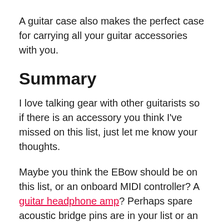A guitar case also makes the perfect case for carrying all your guitar accessories with you.
Summary
I love talking gear with other guitarists so if there is an accessory you think I've missed on this list, just let me know your thoughts.
Maybe you think the EBow should be on this list, or an onboard MIDI controller? A guitar headphone amp? Perhaps spare acoustic bridge pins are in your list or an acoustic guitar soundhole feedback buster? Whatever you're in